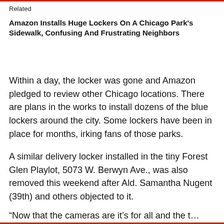Related
Amazon Installs Huge Lockers On A Chicago Park's Sidewalk, Confusing And Frustrating Neighbors
Within a day, the locker was gone and Amazon pledged to review other Chicago locations. There are plans in the works to install dozens of the blue lockers around the city. Some lockers have been in place for months, irking fans of those parks.
A similar delivery locker installed in the tiny Forest Glen Playlot, 5073 W. Berwyn Ave., was also removed this weekend after Ald. Samantha Nugent (39th) and others objected to it.
“Now that the cameras are it’s for all and the t…